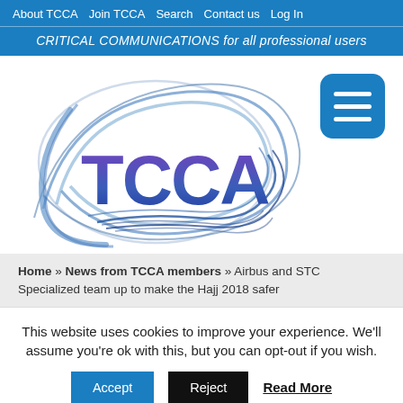About TCCA  Join TCCA  Search  Contact us  Log In
CRITICAL COMMUNICATIONS for all professional users
[Figure (logo): TCCA logo with blue swirl design and purple/blue TCCA letters]
[Figure (other): Hamburger menu icon button (blue rounded rectangle with three white horizontal lines)]
Home » News from TCCA members » Airbus and STC Specialized team up to make the Hajj 2018 safer
This website uses cookies to improve your experience. We'll assume you're ok with this, but you can opt-out if you wish.